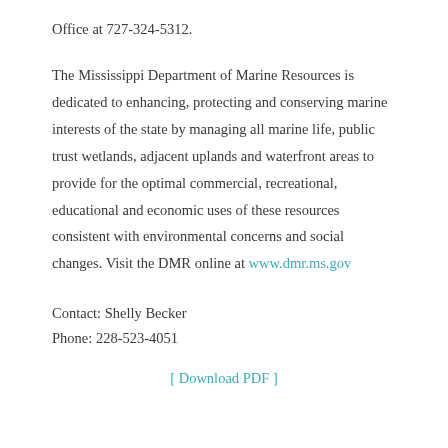Office at 727-324-5312.
The Mississippi Department of Marine Resources is dedicated to enhancing, protecting and conserving marine interests of the state by managing all marine life, public trust wetlands, adjacent uplands and waterfront areas to provide for the optimal commercial, recreational, educational and economic uses of these resources consistent with environmental concerns and social changes. Visit the DMR online at www.dmr.ms.gov
Contact: Shelly Becker
Phone: 228-523-4051
[ Download PDF ]